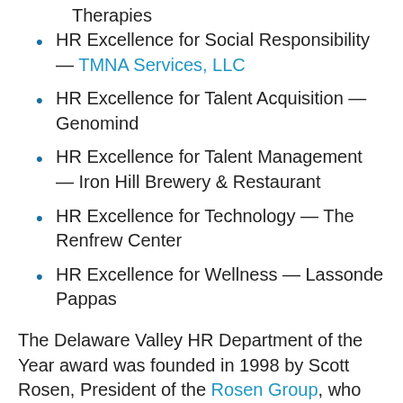Therapies
HR Excellence for Social Responsibility — TMNA Services, LLC
HR Excellence for Talent Acquisition — Genomind
HR Excellence for Talent Management — Iron Hill Brewery & Restaurant
HR Excellence for Technology — The Renfrew Center
HR Excellence for Wellness — Lassonde Pappas
The Delaware Valley HR Department of the Year award was founded in 1998 by Scott Rosen, President of the Rosen Group, who thought human resources professionals should be recognized for the work they do to